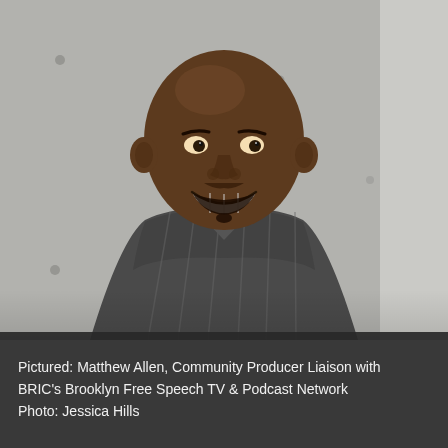[Figure (photo): Portrait photo of Matthew Allen, a smiling bald Black man with a beard, wearing a dark grey striped button-up shirt, photographed against a concrete wall background.]
Pictured: Matthew Allen, Community Producer Liaison with BRIC's Brooklyn Free Speech TV & Podcast Network
Photo: Jessica Hills